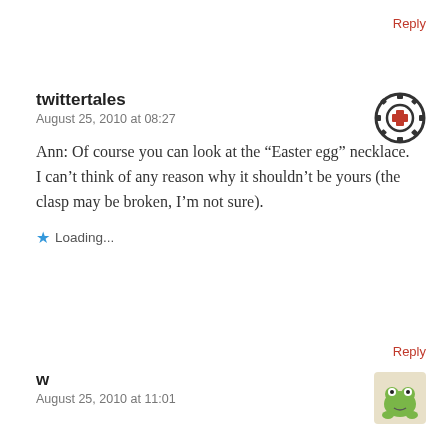Reply
twittertales
August 25, 2010 at 08:27
Ann: Of course you can look at the “Easter egg” necklace. I can’t think of any reason why it shouldn’t be yours (the clasp may be broken, I’m not sure).
Loading...
Reply
w
August 25, 2010 at 11:01